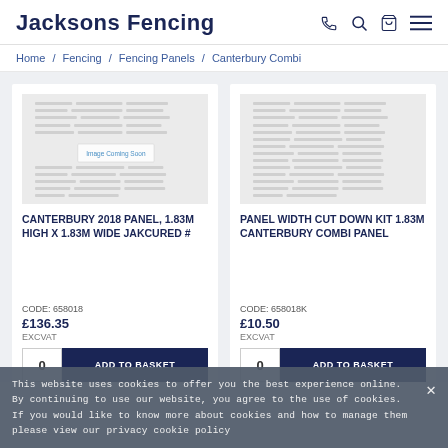Jacksons Fencing
Home / Fencing / Fencing Panels / Canterbury Combi
[Figure (photo): Product placeholder image with 'Image Coming Soon' text for Canterbury 2018 Panel]
CANTERBURY 2018 PANEL, 1.83M HIGH X 1.83M WIDE JAKCURED #
CODE: 658018
£136.35
EXCVAT
[Figure (photo): Product placeholder image (blurred/watermarked) for Panel Width Cut Down Kit]
PANEL WIDTH CUT DOWN KIT 1.83M CANTERBURY COMBI PANEL
CODE: 658018K
£10.50
EXCVAT
This website uses cookies to offer you the best experience online. By continuing to use our website, you agree to the use of cookies. If you would like to know more about cookies and how to manage them please view our privacy cookie policy